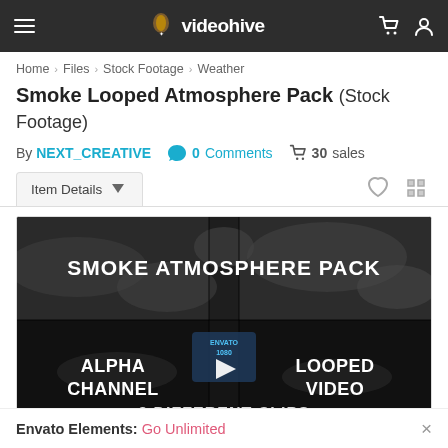videohive
Home > Files > Stock Footage > Weather
Smoke Looped Atmosphere Pack (Stock Footage)
By NEXT_CREATIVE  0 Comments  30 sales
Item Details
[Figure (screenshot): Video preview thumbnail showing 'Smoke Atmosphere Pack' with alpha channel and looped video labels, plus a play button in center]
Envato Elements: Go Unlimited